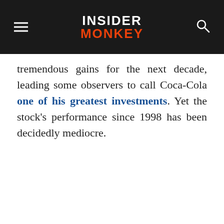INSIDER MONKEY
tremendous gains for the next decade, leading some observers to call Coca-Cola one of his greatest investments. Yet the stock's performance since 1998 has been decidedly mediocre.